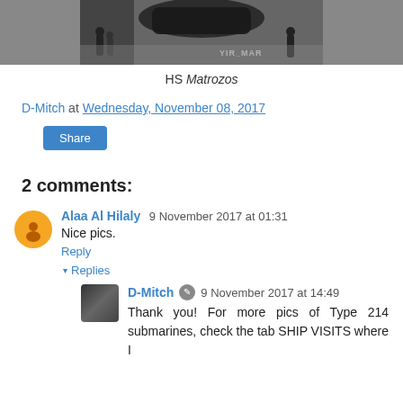[Figure (photo): Cropped photo of a ship or submarine with people and equipment visible, partial text 'YIR_MAR' visible on side]
HS Matrozos
D-Mitch at Wednesday, November 08, 2017
Share
2 comments:
Alaa Al Hilaly  9 November 2017 at 01:31
Nice pics.
Reply
Replies
D-Mitch  9 November 2017 at 14:49
Thank you! For more pics of Type 214 submarines, check the tab SHIP VISITS where I